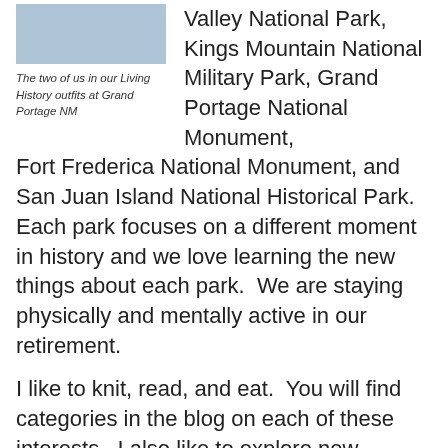[Figure (photo): Partial photo of two people in Living History outfits at Grand Portage NM, cropped at top]
The two of us in our Living History outfits at Grand Portage NM
Valley National Park, Kings Mountain National Military Park, Grand Portage National Monument, Fort Frederica National Monument, and San Juan Island National Historical Park.  Each park focuses on a different moment in history and we love learning the new things about each park.  We are staying physically and mentally active in our retirement.
I like to knit, read, and eat.  You will find categories in the blog on each of these interests.  I also like to explore new places, especially the National Parks.  Most of my posts are about visits to or working in different National Park sites.  After preaching every week for 30 years, I